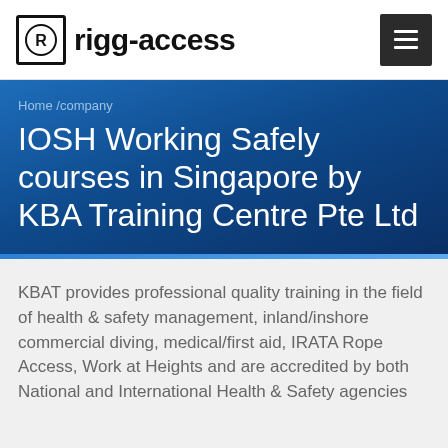[Figure (logo): Rigg-Access logo with R icon in a square border and bold text 'rigg-access']
Home /company
IOSH Working Safely courses in Singapore by KBA Training Centre Pte Ltd
KBAT provides professional quality training in the field of health & safety management, inland/inshore commercial diving, medical/first aid, IRATA Rope Access, Work at Heights and are accredited by both National and International Health & Safety agencies